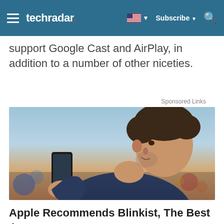techradar. Subscribe
support Google Cast and AirPlay, in addition to a number of other niceties.
Sponsored Links
[Figure (photo): Man looking at a smartphone outdoors at dusk, smiling, with bokeh city lights in background.]
Apple Recommends Blinkist, The Best App